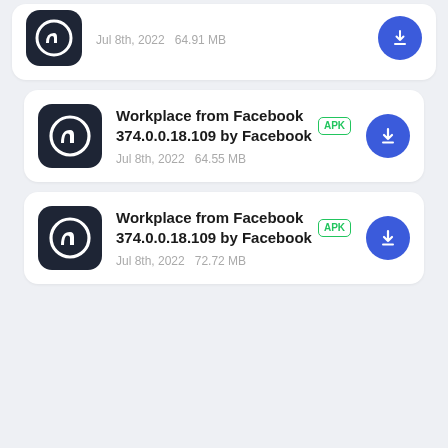[Figure (screenshot): Partial app listing card (cropped at top) showing an app icon and metadata: Jul 8th, 2022  64.91 MB, with APK badge and blue download button]
Workplace from Facebook 374.0.0.18.109 by Facebook — APK — Jul 8th, 2022  64.55 MB
Workplace from Facebook 374.0.0.18.109 by Facebook — APK — Jul 8th, 2022  72.72 MB